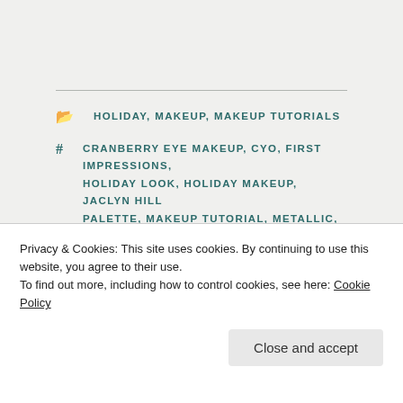HOLIDAY, MAKEUP, MAKEUP TUTORIALS
CRANBERRY EYE MAKEUP, CYO, FIRST IMPRESSIONS, HOLIDAY LOOK, HOLIDAY MAKEUP, JACLYN HILL PALETTE, MAKEUP TUTORIAL, METALLIC, MORPHE, TEAL EYE MAKEUP, TUTORIAL
Leave a Reply
Your email address will not be published. Required fields
Privacy & Cookies: This site uses cookies. By continuing to use this website, you agree to their use.
To find out more, including how to control cookies, see here: Cookie Policy